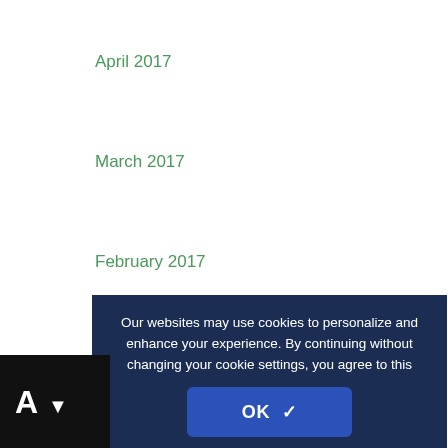April 2017
March 2017
February 2017
January 2017
December 2016
November 2016
October 2016
September 2016
August 2016
Our websites may use cookies to personalize and enhance your experience. By continuing without changing your cookie settings, you agree to this collection. For more information, please see our UNIVERSITY WEBSITES PRIVACY NOTICE.
OK ✓